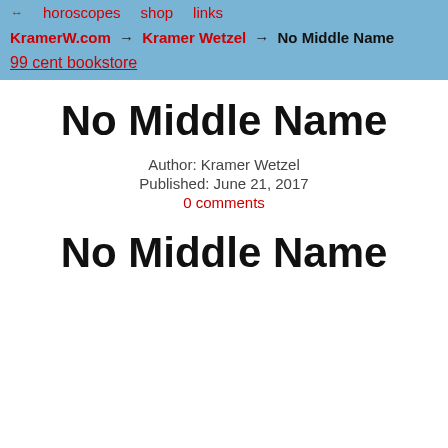↔ horoscopes shop links
KramerW.com → Kramer Wetzel → No Middle Name
99 cent bookstore
No Middle Name
Author: Kramer Wetzel
Published: June 21, 2017
0 comments
No Middle Name